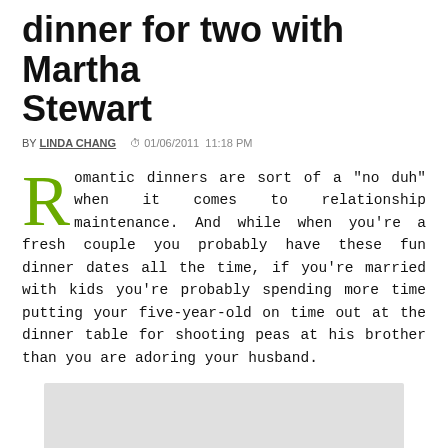dinner for two with Martha Stewart
BY LINDA CHANG  01/06/2011  11:18 PM
Romantic dinners are sort of a "no duh" when it comes to relationship maintenance. And while when you're a fresh couple you probably have these fun dinner dates all the time, if you're married with kids you're probably spending more time putting your five-year-old on time out at the dinner table for shooting peas at his brother than you are adoring your husband.
[Figure (other): Video placeholder rectangle (grey box)]
Check out this cooking video to learn how to prepare an entire romantic Valentine's Day meal.
Chef Pierre Schaedelin prepares a romantic steak dinner for two.